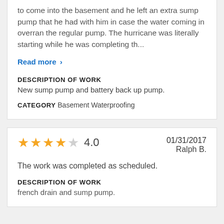to come into the basement and he left an extra sump pump that he had with him in case the water coming in overran the regular pump. The hurricane was literally starting while he was completing th...
Read more ›
DESCRIPTION OF WORK
New sump pump and battery back up pump.
CATEGORY Basement Waterproofing
4.0   01/31/2017   Ralph B.
The work was completed as scheduled.
DESCRIPTION OF WORK
french drain and sump pump.